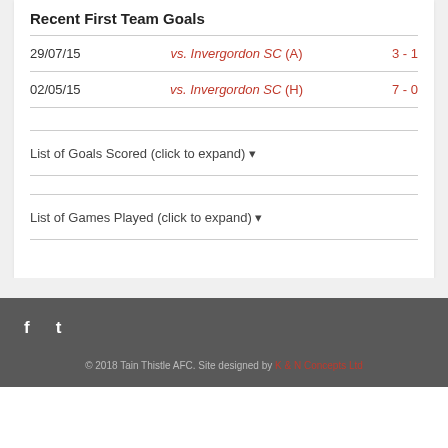Recent First Team Goals
| Date | Match | Score |
| --- | --- | --- |
| 29/07/15 | vs. Invergordon SC (A) | 3 - 1 |
| 02/05/15 | vs. Invergordon SC (H) | 7 - 0 |
List of Goals Scored (click to expand) ▾
List of Games Played (click to expand) ▾
© 2018 Tain Thistle AFC. Site designed by K & N Concepts Ltd